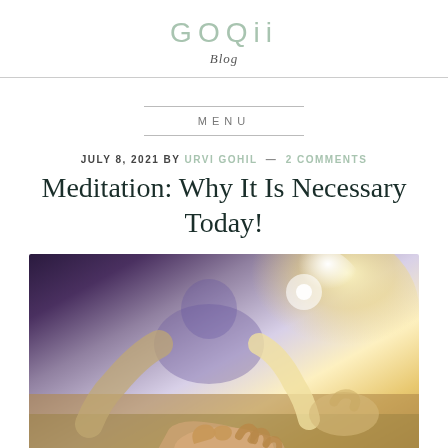GOQii
Blog
MENU
JULY 8, 2021 BY URVI GOHIL — 2 COMMENTS
Meditation: Why It Is Necessary Today!
[Figure (photo): Close-up photograph of a person sitting in meditation pose with hands resting on knees in a mudra gesture, soft warm backlit glow in background]